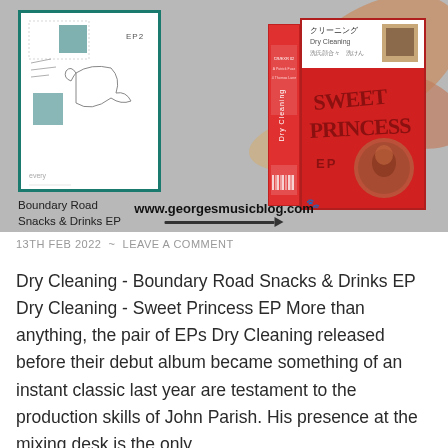[Figure (photo): Blog post image showing two EP covers: left side shows Boundary Road Snacks & Drinks EP (white cover with teal border, EP2 label, small sketches), and right side shows two red cassette tape cases for Sweet Princess EP by Dry Cleaning, with Japanese text and illustrated cover art. Background is grey with autumn leaf design. Website www.georgesmusicblog.com shown at bottom of image.]
13TH FEB 2022  ~  LEAVE A COMMENT
Dry Cleaning - Boundary Road Snacks & Drinks EP Dry Cleaning - Sweet Princess EP More than anything, the pair of EPs Dry Cleaning released before their debut album became something of an instant classic last year are testament to the production skills of John Parish. His presence at the mixing desk is the only …